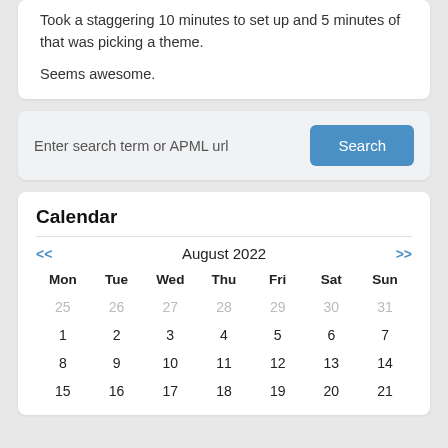Took a staggering 10 minutes to set up and 5 minutes of that was picking a theme.

Seems awesome.
Enter search term or APML url
Calendar
| Mon | Tue | Wed | Thu | Fri | Sat | Sun |
| --- | --- | --- | --- | --- | --- | --- |
| 25 | 26 | 27 | 28 | 29 | 30 | 31 |
| 1 | 2 | 3 | 4 | 5 | 6 | 7 |
| 8 | 9 | 10 | 11 | 12 | 13 | 14 |
| 15 | 16 | 17 | 18 | 19 | 20 | 21 |